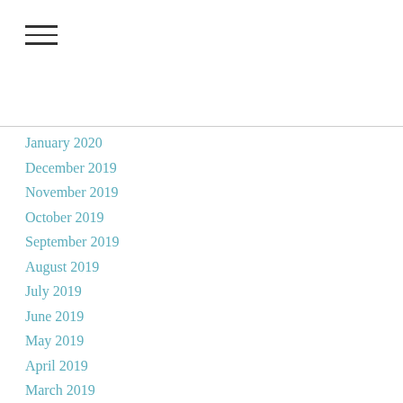[Figure (other): Hamburger menu icon with three horizontal lines]
January 2020
December 2019
November 2019
October 2019
September 2019
August 2019
July 2019
June 2019
May 2019
April 2019
March 2019
February 2019
January 2019
December 2018
November 2018
October 2018
September 2018
August 2018